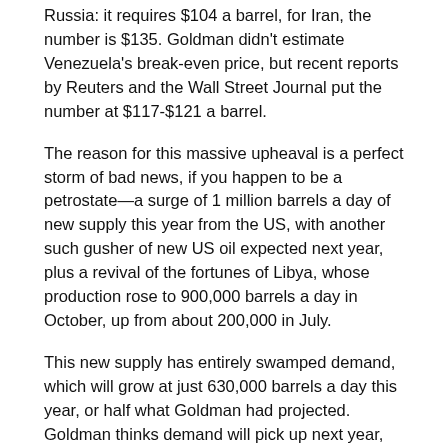Russia: it requires $104 a barrel, for Iran, the number is $135. Goldman didn't estimate Venezuela's break-even price, but recent reports by Reuters and the Wall Street Journal put the number at $117-$121 a barrel.
The reason for this massive upheaval is a perfect storm of bad news, if you happen to be a petrostate—a surge of 1 million barrels a day of new supply this year from the US, with another such gusher of new US oil expected next year, plus a revival of the fortunes of Libya, whose production rose to 900,000 barrels a day in October, up from about 200,000 in July.
This new supply has entirely swamped demand, which will grow at just 630,000 barrels a day this year, or half what Goldman had projected. Goldman thinks demand will pick up next year, but not enough to meet the expected new 2015 supply.
All is not lost, Goldman said, however. It thinks that starting next year, some US shale drillers will pull back production—sufficient to stabilize Brent at about $85 a barrel the second half of 2015 and $90 in 2016, albeit it will stay far from recovery. This is not going...